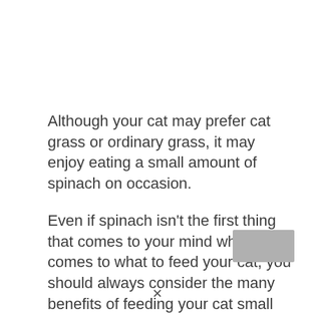Although your cat may prefer cat grass or ordinary grass, it may enjoy eating a small amount of spinach on occasion.
Even if spinach isn't the first thing that comes to your mind when it comes to what to feed your cat, you should always consider the many benefits of feeding your cat small amounts of spinach.